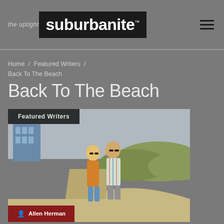the uptight suburbanite™
Home / Featured Writers / Back To The Beach
Back To The Beach
[Figure (photo): Two people (a man and a woman) standing on a beach boardwalk path with sand dunes and grass in the background, with a coastal building visible. A 'Featured Writers' label tag overlays the top-left and an 'Allen Herman' author tag overlays the bottom-left.]